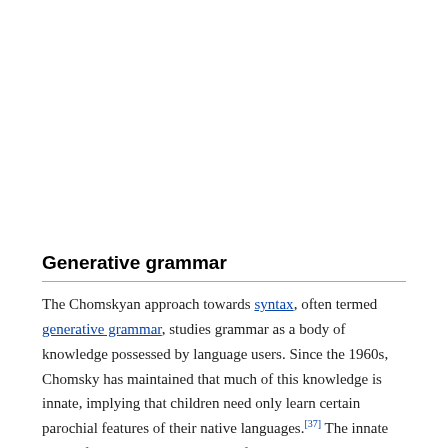Generative grammar
The Chomskyan approach towards syntax, often termed generative grammar, studies grammar as a body of knowledge possessed by language users. Since the 1960s, Chomsky has maintained that much of this knowledge is innate, implying that children need only learn certain parochial features of their native languages.[37] The innate body of linguistic knowledge is often termed universal grammar. From Chomsky's perspective, the strongest evidence for the existence of Universal Grammar is simply the fact that children successfully acquire their native languages in so little time.